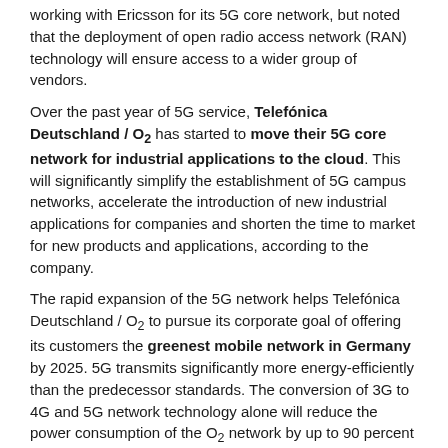working with Ericsson for its 5G core network, but noted that the deployment of open radio access network (RAN) technology will ensure access to a wider group of vendors.
Over the past year of 5G service, Telefónica Deutschland / O₂ has started to move their 5G core network for industrial applications to the cloud. This will significantly simplify the establishment of 5G campus networks, accelerate the introduction of new industrial applications for companies and shorten the time to market for new products and applications, according to the company.
The rapid expansion of the 5G network helps Telefónica Deutschland / O₂ to pursue its corporate goal of offering its customers the greenest mobile network in Germany by 2025. 5G transmits significantly more energy-efficiently than the predecessor standards. The conversion of 3G to 4G and 5G network technology alone will reduce the power consumption of the O₂ network by up to 90 percent per transported byte. In addition, the company will make a significant contribution to achieving Germany's climate targets overall. Its 5G network will pave the way for digital solutions and all-round connectivity, helping other industries to save CO₂ emissions and develop sustainable business models.
References: